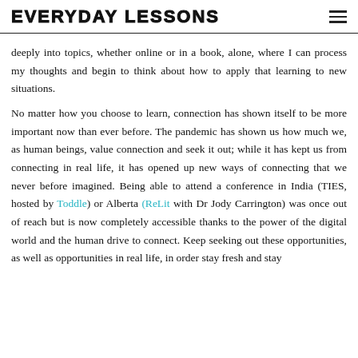EVERYDAY LESSONS
deeply into topics, whether online or in a book, alone, where I can process my thoughts and begin to think about how to apply that learning to new situations.
No matter how you choose to learn, connection has shown itself to be more important now than ever before. The pandemic has shown us how much we, as human beings, value connection and seek it out; while it has kept us from connecting in real life, it has opened up new ways of connecting that we never before imagined. Being able to attend a conference in India (TIES, hosted by Toddle) or Alberta (ReLit with Dr Jody Carrington) was once out of reach but is now completely accessible thanks to the power of the digital world and the human drive to connect. Keep seeking out these opportunities, as well as opportunities in real life, in order stay fresh and stay